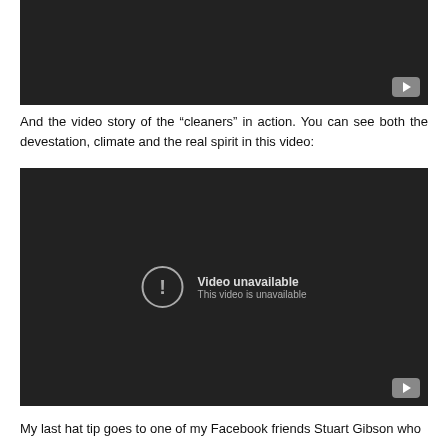[Figure (screenshot): Dark video player placeholder at top of page, with a YouTube play button icon in the bottom right corner.]
And the video story of the "cleaners" in action. You can see both the devestation, climate and the real spirit in this video:
[Figure (screenshot): Dark video player showing 'Video unavailable / This video is unavailable' message with a circle exclamation icon and a YouTube play button in the bottom right corner.]
My last hat tip goes to one of my Facebook friends Stuart Gibson who